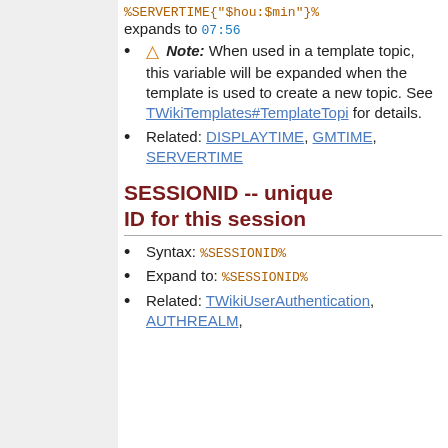%SERVERTIME{"$hou:$min"}% expands to 07:56
⚠ Note: When used in a template topic, this variable will be expanded when the template is used to create a new topic. See TWikiTemplates#TemplateTopi for details.
Related: DISPLAYTIME, GMTIME, SERVERTIME
SESSIONID -- unique ID for this session
Syntax: %SESSIONID%
Expand to: %SESSIONID%
Related: TWikiUserAuthentication, AUTHREALM,